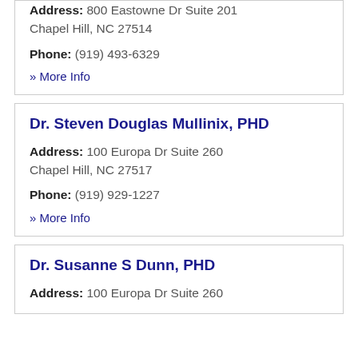Address: 800 Eastowne Dr Suite 201 Chapel Hill, NC 27514
Phone: (919) 493-6329
» More Info
Dr. Steven Douglas Mullinix, PHD
Address: 100 Europa Dr Suite 260 Chapel Hill, NC 27517
Phone: (919) 929-1227
» More Info
Dr. Susanne S Dunn, PHD
Address: 100 Europa Dr Suite 260